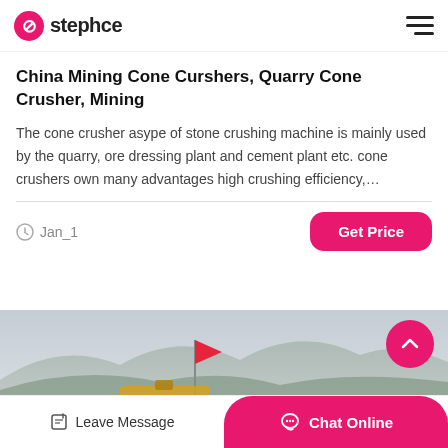stephce
China Mining Cone Curshers, Quarry Cone Crusher, Mining
The cone crusher asype of stone crushing machine is mainly used by the quarry, ore dressing plant and cement plant etc. cone crushers own many advantages high crushing efficiency,…
Jan_1
[Figure (photo): Aerial/mountain landscape photo with a red flag on a pole and mining equipment visible in the foreground, hazy mountains in the background.]
Leave Message  Chat Online